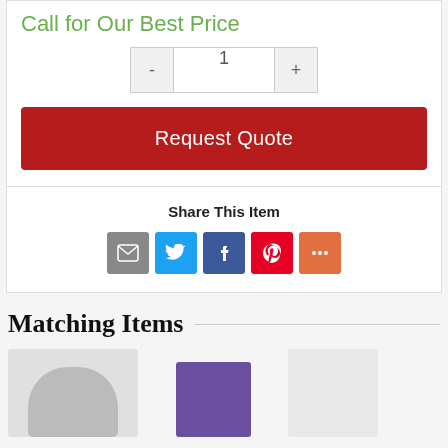Call for Our Best Price
[Figure (screenshot): Quantity selector with minus button, input field showing 1, and plus button]
[Figure (screenshot): Red 'Request Quote' button]
Share This Item
[Figure (infographic): Social share icons: email (grey), Twitter (blue), Facebook (dark blue), Pinterest (red), More (orange)]
Matching Items
[Figure (photo): Three product thumbnail images at bottom of page]